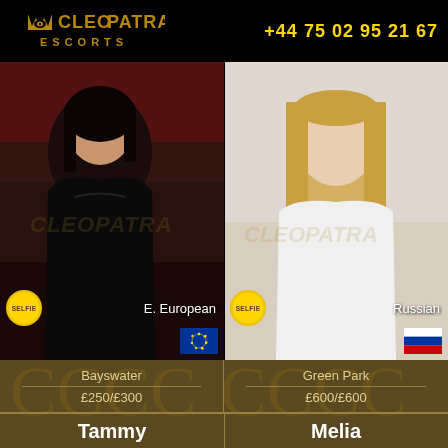CLEOPATRA ESCORTS  +44 75 02 95 21 67
[Figure (photo): Portrait photo of woman with dark hair wearing black outfit, labelled E. European with EU flag badge]
[Figure (photo): Portrait photo of woman with long blonde hair wearing white top, labelled Russian with Russian flag badge]
Bayswater
£250/£300
Green Park
£600/£600
Tammy
Melia